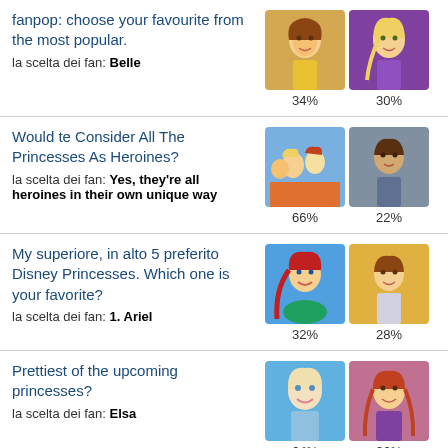fanpop: choose your favourite from the most popular.
Would te Consider All The Princesses As Heroines?
My superiore, in alto 5 preferito Disney Princesses. Which one is your favorite?
Prettiest of the upcoming princesses?
Belle vs Kayley? Which is prettier?